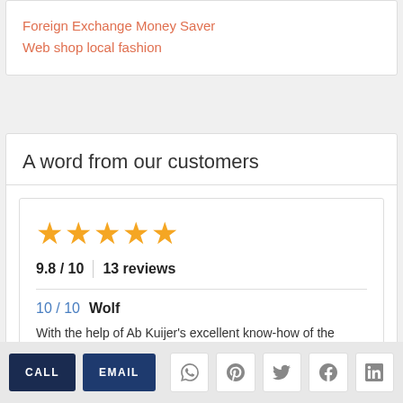Foreign Exchange Money Saver
Web shop local fashion
A word from our customers
9.8 / 10  |  13 reviews
10 / 10  Wolf
With the help of Ab Kuijer's excellent know-how of the